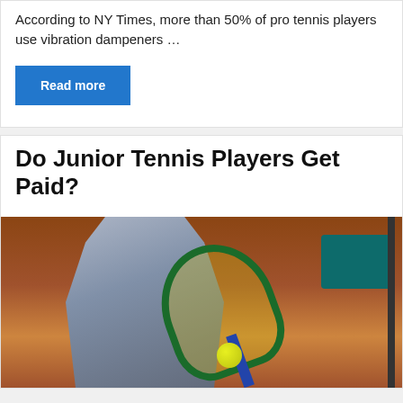According to NY Times, more than 50% of pro tennis players use vibration dampeners …
Read more
Do Junior Tennis Players Get Paid?
[Figure (photo): A young tennis player in a grey hoodie holding a tennis racket and a yellow tennis ball on a clay court, with a bench and net visible in the background.]